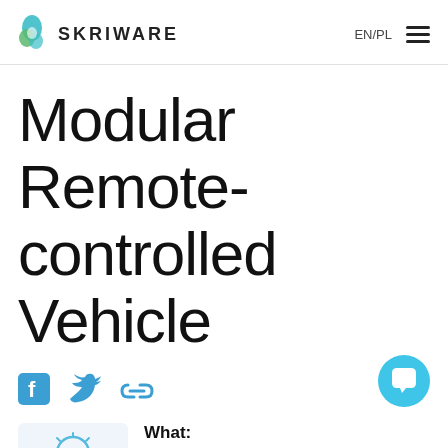SKRIWARE | EN/PL
Modular Remote-controlled Vehicle
[Figure (infographic): Social media share icons: Facebook, Twitter, and a link icon]
[Figure (illustration): Lightbulb icon in a light blue rounded rectangle box]
What:
Modułowy